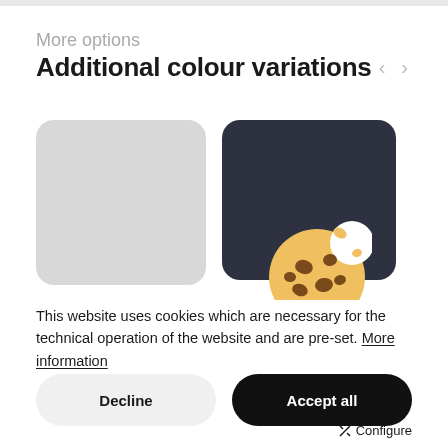More options
Additional colour variations
[Figure (illustration): Two colour swatches — a light grey rounded rectangle on the left and a dark navy rounded rectangle on the right — with a cookie emoji icon overlapping the bottom-centre of the dark swatch.]
This website uses cookies which are necessary for the technical operation of the website and are pre-set. More information
Decline
Accept all
Configure